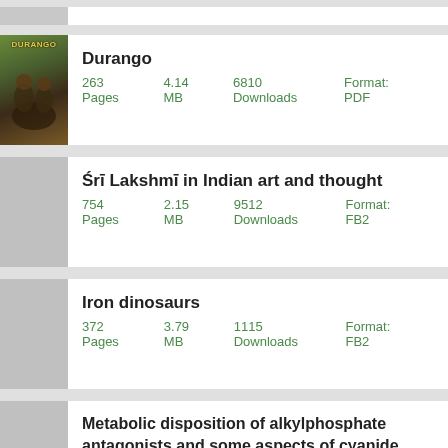Durango
263 Pages    4.14 MB    6810 Downloads    Format: PDF
Śrī Lakshmī in Indian art and thought
754 Pages    2.15 MB    9512 Downloads    Format: FB2
Iron dinosaurs
372 Pages    3.79 MB    1115 Downloads    Format: FB2
Metabolic disposition of alkylphosphate antagonists and some aspects of cyanide antagonism,